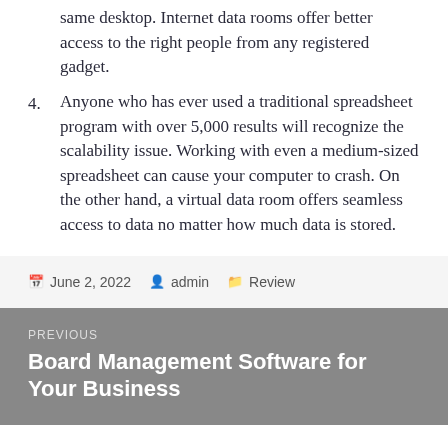same desktop. Internet data rooms offer better access to the right people from any registered gadget.
4. Anyone who has ever used a traditional spreadsheet program with over 5,000 results will recognize the scalability issue. Working with even a medium-sized spreadsheet can cause your computer to crash. On the other hand, a virtual data room offers seamless access to data no matter how much data is stored.
June 2, 2022  admin  Review
PREVIOUS Board Management Software for Your Business